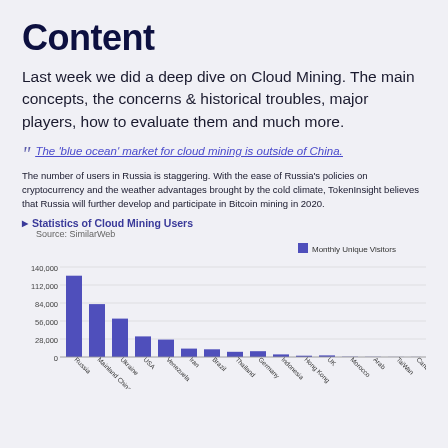Content
Last week we did a deep dive on Cloud Mining. The main concepts, the concerns & historical troubles, major players, how to evaluate them and much more.
" The 'blue ocean' market for cloud mining is outside of China.
The number of users in Russia is staggering. With the ease of Russia's policies on cryptocurrency and the weather advantages brought by the cold climate, TokenInsight believes that Russia will further develop and participate in Bitcoin mining in 2020.
Statistics of Cloud Mining Users
Source: SimilarWeb
[Figure (bar-chart): Statistics of Cloud Mining Users]